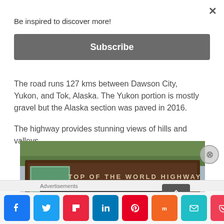Be inspired to discover more!
Subscribe
The road runs 127 kms between Dawson City, Yukon, and Tok, Alaska. The Yukon portion is mostly gravel but the Alaska section was paved in 2016.
The highway provides stunning views of hills and valleys.
[Figure (photo): A wooden sign reading 'TOP OF THE WORLD HIGHWAY' with subtitle 'YUKON HIGHWAY NO. 9 BEGAN AS A PACK TRAIL OUT OF DAWSON CITY SHORTLY AFTER THE GOLD...' surrounded by trees]
Advertisements
Social share buttons: Facebook, Twitter, Flipboard, LinkedIn, Pinterest, Mix, Email, Pocket